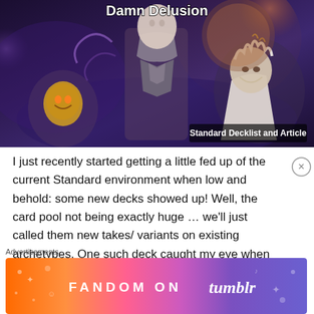[Figure (illustration): Fantasy art banner showing armored characters including a masked figure, a central armored warrior, and an elderly white-haired man, with purple/dark atmospheric background. Text overlay reads 'Standard Decklist and Article'.]
I just recently started getting a little fed up of the current Standard environment when low and behold: some new decks showed up! Well, the card pool not being exactly huge … we'll just called them new takes/ variants on existing archetypes. One such deck caught my eye when
[Figure (infographic): Advertisement banner: 'FANDOM ON tumblr' with colorful gradient background (orange to purple) with decorative icons]